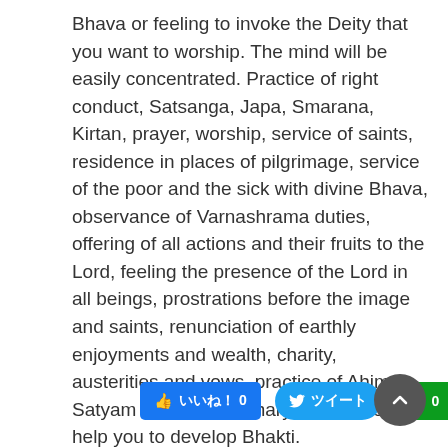Bhava or feeling to invoke the Deity that you want to worship. The mind will be easily concentrated. Practice of right conduct, Satsanga, Japa, Smarana, Kirtan, prayer, worship, service of saints, residence in places of pilgrimage, service of the poor and the sick with divine Bhava, observance of Varnashrama duties, offering of all actions and their fruits to the Lord, feeling the presence of the Lord in all beings, prostrations before the image and saints, renunciation of earthly enjoyments and wealth, charity, austerities and vows, practice of Ahimsa, Satyam and Brahmacharya – all these will help you to develop Bhakti.
[Figure (infographic): Social sharing buttons: Facebook Like (0), Twitter share, Hatena Bookmark (0), and a scroll-to-top button]